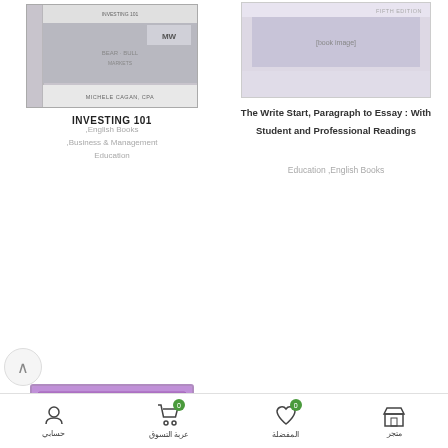[Figure (photo): Book cover: Investing 101 by Michele Cagan CPA, showing a bear market related imagery]
INVESTING 101
,English Books ,Business & Management ,Education
[Figure (photo): Book cover: The Write Start Paragraph to Essay With Student and Professional Readings, Fifth Edition]
The Write Start, Paragraph to Essay : With Student and Professional Readings
Education ,English Books
[Figure (photo): Purple Quran cover with discount badge -18%]
colored-quran-17-24-purple
[Figure (photo): Book cover: Organizational Behavior by Stephen P. Robbins and Timothy A. Judge, Fifteenth Edition, showing a flock of birds in flight]
حسابي  عربة التسوق 0  المفضلة 0  متجر